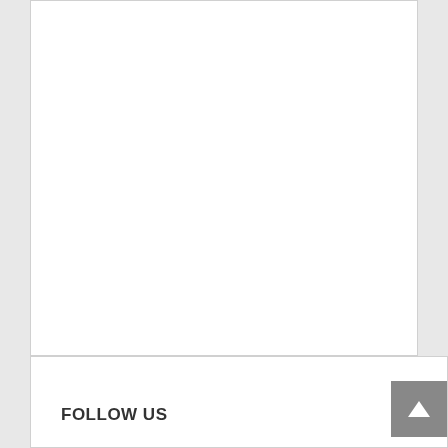listen to.
In Truth Disguised, Quandi has created an appealing heroine in conflicted Frankie. Her protagonist's journey is enhanced by fully-fleshed supporting characters, like her parents, sister and four homeboys. Also, the “don’t judge a book by its cover” message isn’t forced on the reader. It’s only the grammatical errors that take away from the plot. I was a little sad at the ending, but it’s an eye opener for sure. A book for teens and questioning women alike, Truth Disguised proves appearances aren’t everything.
Reviewed November 2009
FOLLOW US